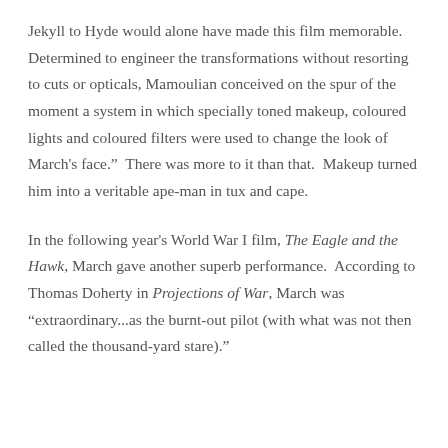Jekyll to Hyde would alone have made this film memorable.  Determined to engineer the transformations without resorting to cuts or opticals, Mamoulian conceived on the spur of the moment a system in which specially toned makeup, coloured lights and coloured filters were used to change the look of March's face."  There was more to it than that.  Makeup turned him into a veritable ape-man in tux and cape.
In the following year's World War I film, The Eagle and the Hawk, March gave another superb performance.  According to Thomas Doherty in Projections of War, March was "extraordinary...as the burnt-out pilot (with what was not then called the thousand-yard stare)."